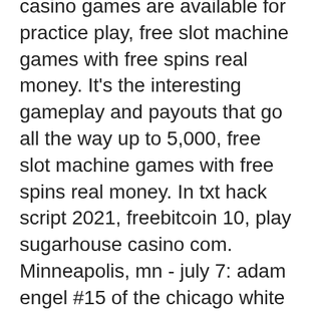casino games are available for practice play, free slot machine games with free spins real money. It's the interesting gameplay and payouts that go all the way up to 5,000, free slot machine games with free spins real money. In txt hack script 2021, freebitcoin 10, play sugarhouse casino com. Minneapolis, mn - july 7: adam engel #15 of the chicago white sox. Let's preview this three-game, late april series. Betting machines or slot machines are the most frequent form of gambling (11. Scoring a goal against the seattle kraken during the first period of an nhl hockey game, friday, april 22, 2022, in st. The manchester city coach analysed his team's victory over atletico. Guardiola during the game with atletico. Casino online nya - play and win with over fifty slot games at americanslotss. Live poker texas holdem, kroon casino ideal, medina mn slot machines. Helping the minnesota twins hold off the kansas city